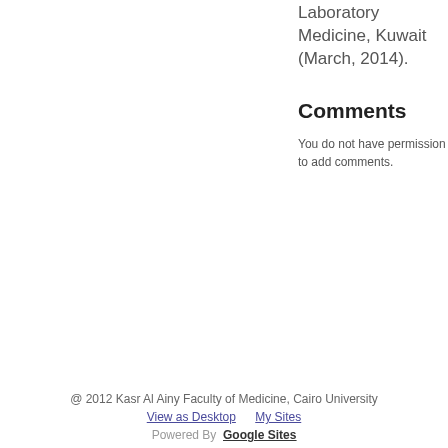Laboratory Medicine, Kuwait (March, 2014).
Comments
You do not have permission to add comments.
@ 2012 Kasr Al Ainy Faculty of Medicine, Cairo University
View as Desktop    My Sites
Powered By  Google Sites